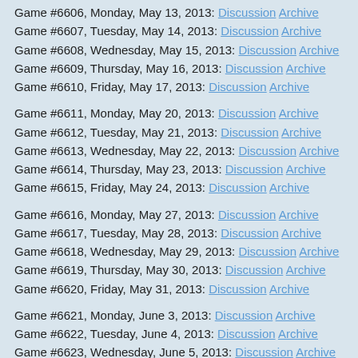Game #6606, Monday, May 13, 2013: Discussion Archive
Game #6607, Tuesday, May 14, 2013: Discussion Archive
Game #6608, Wednesday, May 15, 2013: Discussion Archive
Game #6609, Thursday, May 16, 2013: Discussion Archive
Game #6610, Friday, May 17, 2013: Discussion Archive
Game #6611, Monday, May 20, 2013: Discussion Archive
Game #6612, Tuesday, May 21, 2013: Discussion Archive
Game #6613, Wednesday, May 22, 2013: Discussion Archive
Game #6614, Thursday, May 23, 2013: Discussion Archive
Game #6615, Friday, May 24, 2013: Discussion Archive
Game #6616, Monday, May 27, 2013: Discussion Archive
Game #6617, Tuesday, May 28, 2013: Discussion Archive
Game #6618, Wednesday, May 29, 2013: Discussion Archive
Game #6619, Thursday, May 30, 2013: Discussion Archive
Game #6620, Friday, May 31, 2013: Discussion Archive
Game #6621, Monday, June 3, 2013: Discussion Archive
Game #6622, Tuesday, June 4, 2013: Discussion Archive
Game #6623, Wednesday, June 5, 2013: Discussion Archive
Game #6624, Thursday, June 6, 2013: Discussion Archive
Game #6625, Friday, June 7, 2013: Discussion Archive